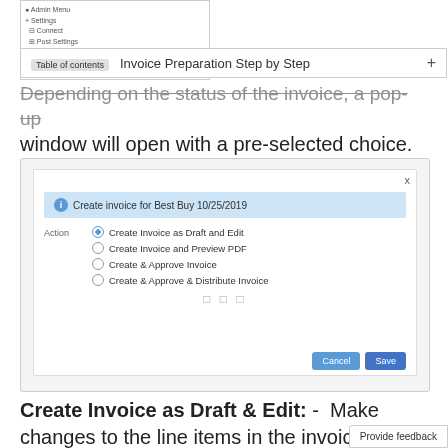[Figure (screenshot): Navigation sidebar showing menu items including Settings, Connect, Post Settings]
[Figure (screenshot): Table of contents row with 'Table of contents' pill and 'Invoice Preparation Step by Step' label with + expand button]
Depending on the status of the invoice, a pop-up window will open with a pre-selected choice.
[Figure (screenshot): Dialog box showing 'Create invoice for Best Buy 10/25/2019' with radio button options: Create Invoice as Draft and Edit (selected), Create Invoice and Preview PDF, Create & Approve Invoice, Create & Approve & Distribute Invoice. Cancel and Save buttons at bottom.]
Create Invoice as Draft & Edit: -  Make changes to the line items in the invoice, either add or remove